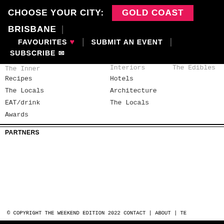CHOOSE YOUR CITY: GOLD COAST | BRISBANE | FAVOURITES ♥ | SUBMIT AN EVENT | SUBSCRIBE ✉
Recipes
The Locals
EAT/drink
Awards
Interiors
Hotels
Architecture
The Locals
The Edibles
PARTNERS
© COPYRIGHT THE WEEKEND EDITION 2022 CONTACT | ABOUT | TE